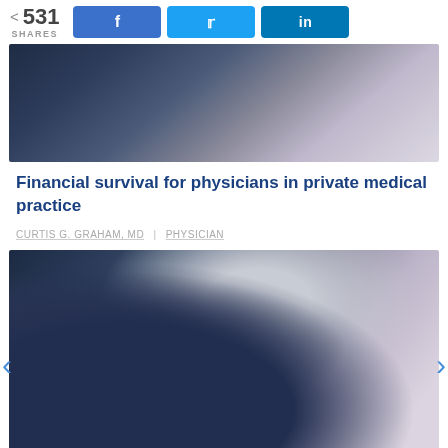531 SHARES | Share on Facebook | Share on Twitter | Share on LinkedIn
[Figure (photo): Close-up photo of a stethoscope on a dark background, top portion visible]
Financial survival for physicians in private medical practice
CURTIS G. GRAHAM, MD | PHYSICIAN
[Figure (photo): Close-up photo of a stethoscope on a dark background, full view]
An experience of shame in training
BRETT LINZER, MD | PHYSICIAN